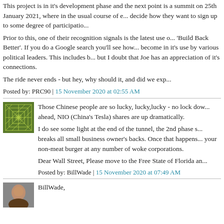This project is in it's development phase and the next point is a summit on 25th January 2021, where in the usual course of events, decide how they want to sign up to some degree of participation.
Prior to this, one of their recognition signals is the latest use of 'Build Back Better'. If you do a Google search you'll see how it's become in it's use by various political leaders. This includes Joe Biden but I doubt that Joe has an appreciation of it's connections.
The ride never ends - but hey, why should it, and did we exp
Posted by: PRC90 | 15 November 2020 at 02:55 AM
Those Chinese people are so lucky, lucky,lucky - no lock down ahead, NIO (China's Tesla) shares are up dramatically.
I do see some light at the end of the tunnel, the 2nd phase s breaks all small business owner's backs. Once that happens your non-meat burger at any number of woke corporations.
Dear Wall Street, Please move to the Free State of Florida an
Posted by: BillWade | 15 November 2020 at 07:49 AM
BillWade,